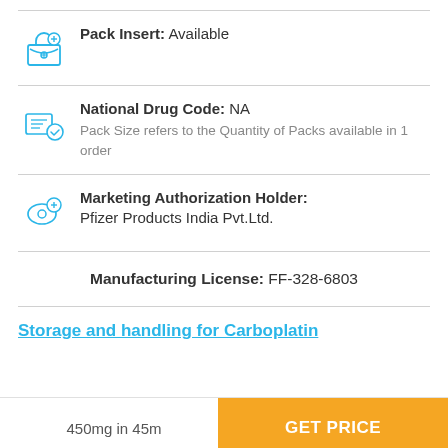Pack Insert: Available
National Drug Code: NA
Pack Size refers to the Quantity of Packs available in 1 order
Marketing Authorization Holder:
Pfizer Products India Pvt.Ltd.
Manufacturing License: FF-328-6803
Storage and handling for Carboplatin
450mg in 45m
GET PRICE